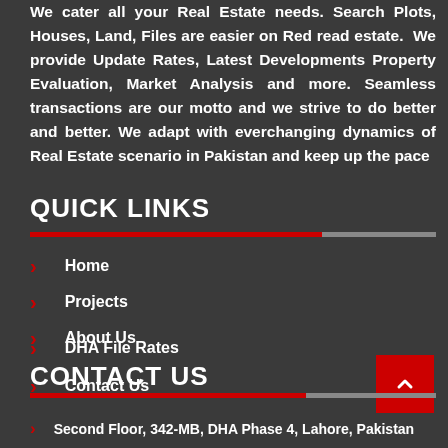We cater all your Real Estate needs. Search Plots, Houses, Land, Files are easier on Red read estate. We provide Update Rates, Latest Developments Property Evaluation, Market Analysis and more. Seamless transactions are our motto and we strive to do better and better. We adapt with everchanging dynamics of Real Estate scenario in Pakistan and keep up the pace
QUICK LINKS
Home
Projects
About Us
DHA File Rates
Contact Us
CONTACT US
Second Floor, 342-MB, DHA Phase 4, Lahore, Pakistan